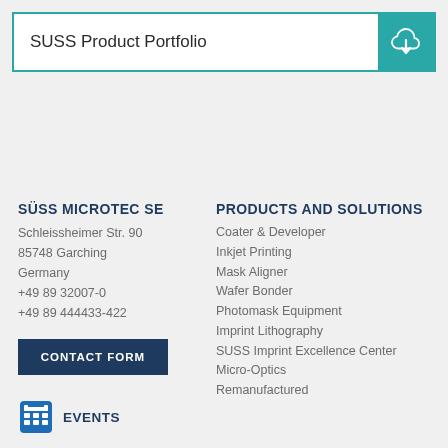SUSS Product Portfolio
SÜSS MICROTEC SE
Schleissheimer Str. 90
85748 Garching
Germany
+49 89 32007-0
+49 89 444433-422
CONTACT FORM
EVENTS
PRODUCTS AND SOLUTIONS
Coater & Developer
Inkjet Printing
Mask Aligner
Wafer Bonder
Photomask Equipment
Imprint Lithography
SUSS Imprint Excellence Center
Micro-Optics
Remanufactured